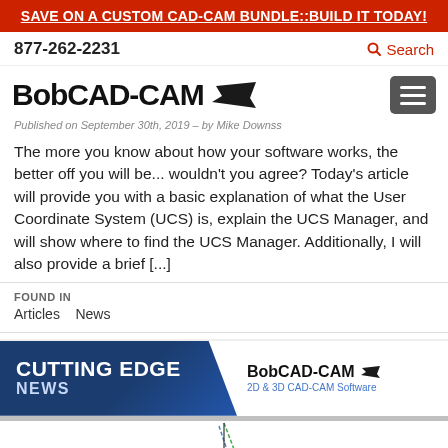SAVE ON A CUSTOM CAD-CAM BUNDLE::BUILD IT TODAY!
877-262-2231   Search
[Figure (logo): BobCAD-CAM logo with fish/arrow icon and hamburger menu button]
Published on September 30th, 2019 – by Mike Downss
The more you know about how your software works, the better off you will be... wouldn't you agree? Today's article will provide you with a basic explanation of what the User Coordinate System (UCS) is, explain the UCS Manager, and will show where to find the UCS Manager. Additionally, I will also provide a brief [...]
FOUND IN
Articles   News
[Figure (infographic): Cutting Edge News banner with BobCAD-CAM 2D & 3D CAD-CAM Software logo and partial diagram below]